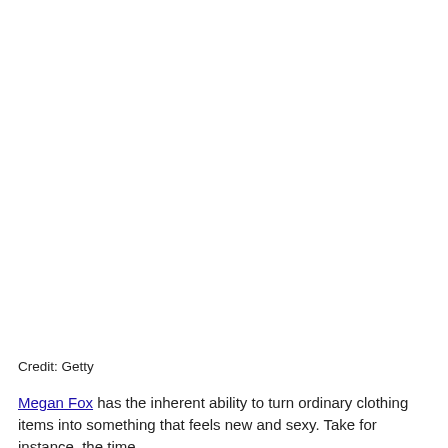[Figure (photo): Large photo area, mostly white/blank in this page crop]
Credit: Getty
Megan Fox has the inherent ability to turn ordinary clothing items into something that feels new and sexy. Take for instance, the time